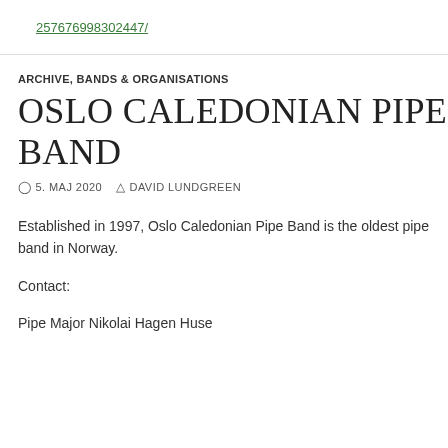257676998302447/
ARCHIVE, BANDS & ORGANISATIONS
OSLO CALEDONIAN PIPE BAND
5. MAJ 2020  DAVID LUNDGREEN
Established in 1997, Oslo Caledonian Pipe Band is the oldest pipe band in Norway.
Contact:
Pipe Major Nikolai Hagen Huse